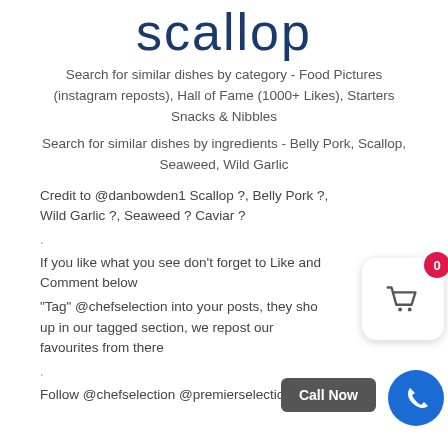scallop
Search for similar dishes by category - Food Pictures (instagram reposts), Hall of Fame (1000+ Likes), Starters Snacks & Nibbles
Search for similar dishes by ingredients - Belly Pork, Scallop, Seaweed, Wild Garlic
Credit to @danbowden1 Scallop ?, Belly Pork ?, Wild Garlic ?, Seaweed ? Caviar ?
.
If you like what you see don't forget to Like and Comment below
"Tag" @chefselection into your posts, they show up in our tagged section, we repost our favourites from there
.
Follow @chefselection @premierselection1